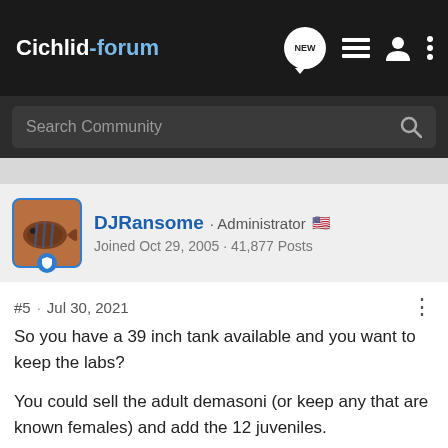Cichlid-forum
Search Community
DJRansome · Administrator
Joined Oct 29, 2005 · 41,877 Posts
#5 · Jul 30, 2021
So you have a 39 inch tank available and you want to keep the labs?
You could sell the adult demasoni (or keep any that are known females) and add the 12 juveniles.
Or you could sell all the demasoni and add a small, peaceful species like 1m:3f Cynotilapia zebroides Cobue to be tankmates with the labs.